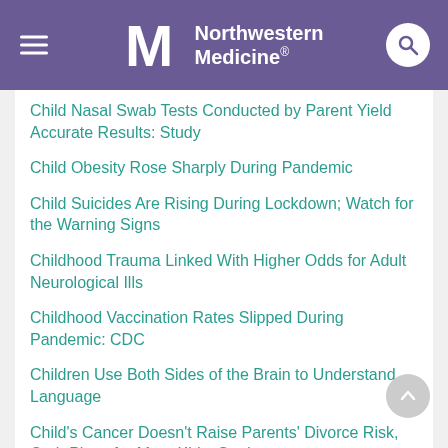Northwestern Medicine
Child Nasal Swab Tests Conducted by Parent Yield Accurate Results: Study
Child Obesity Rose Sharply During Pandemic
Child Suicides Are Rising During Lockdown; Watch for the Warning Signs
Childhood Trauma Linked With Higher Odds for Adult Neurological Ills
Childhood Vaccination Rates Slipped During Pandemic: CDC
Children Use Both Sides of the Brain to Understand Language
Child's Cancer Doesn't Raise Parents' Divorce Risk, Curb Plans for More Kids: Study